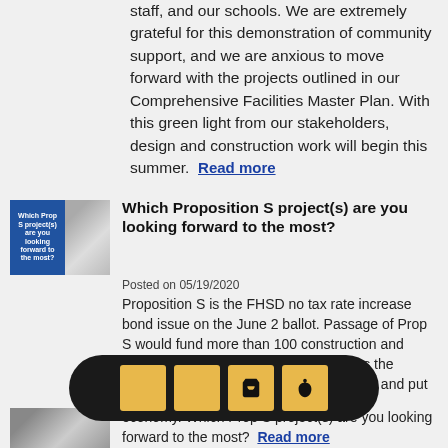staff, and our schools. We are extremely grateful for this demonstration of community support, and we are anxious to move forward with the projects outlined in our Comprehensive Facilities Master Plan. With this green light from our stakeholders, design and construction work will begin this summer. Read more
[Figure (photo): Thumbnail image for Proposition S article showing blue panel with text and a photo of people]
Which Proposition S project(s) are you looking forward to the most?
Posted on 05/19/2020
Proposition S is the FHSD no tax rate increase bond issue on the June 2 ballot. Passage of Prop S would fund more than 100 construction and renovation projects at all schools across the District. These projects would create jobs and put... economy. Which Prop S project(s) are you looking forward to the most? Read more
[Figure (photo): Bottom article thumbnail image partially visible]